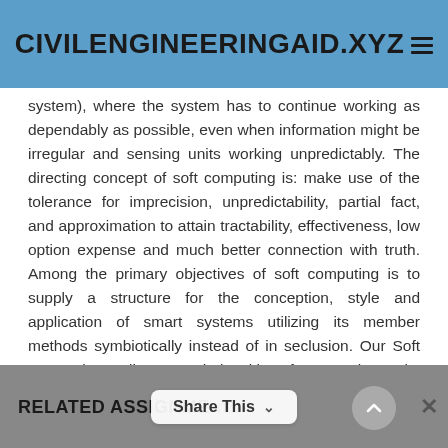CIVILENGINEERINGAID.XYZ
system), where the system has to continue working as dependably as possible, even when information might be irregular and sensing units working unpredictably. The directing concept of soft computing is: make use of the tolerance for imprecision, unpredictability, partial fact, and approximation to attain tractability, effectiveness, low option expense and much better connection with truth. Among the primary objectives of soft computing is to supply a structure for the conception, style and application of smart systems utilizing its member methods symbiotically instead of in seclusion. Our Soft Computing Online tutors help with Soft Computing tasks & weekly research issues at the college & university level. Our outstanding tutorbase for Soft Computing enure ontime shipment of Soft Computing assignment services.
RELATED ASSIGNMENTS